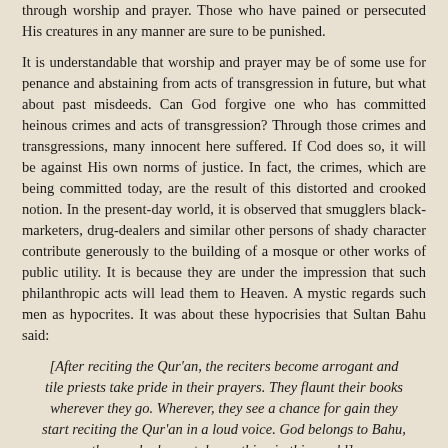through worship and prayer. Those who have pained or persecuted His creatures in any manner are sure to be punished.
It is understandable that worship and prayer may be of some use for penance and abstaining from acts of transgression in future, but what about past misdeeds. Can God forgive one who has committed heinous crimes and acts of transgression? Through those crimes and transgressions, many innocent here suffered. If Cod does so, it will be against His own norms of justice. In fact, the crimes, which are being committed today, are the result of this distorted and crooked notion. In the present-day world, it is observed that smugglers black-marketers, drug-dealers and similar other persons of shady character contribute generously to the building of a mosque or other works of public utility. It is because they are under the impression that such philanthropic acts will lead them to Heaven. A mystic regards such men as hypocrites. It was about these hypocrisies that Sultan Bahu said:
[After reciting the Qur'an, the reciters become arrogant and tile priests take pride in their prayers. They flaunt their books wherever they go. Wherever, they see a chance for gain they start reciting the Qur'an in a loud voice. God belongs to Bahu, those, who have stolen nothing in this world].
Other rituals too, like worship and player, have become conventional and lifeless. The mystic regards all such a zombie...